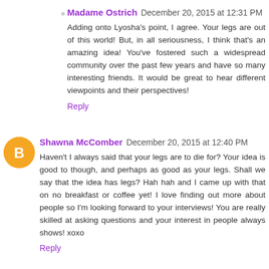Madame Ostrich  December 20, 2015 at 12:31 PM
Adding onto Lyosha's point, I agree. Your legs are out of this world! But, in all seriousness, I think that's an amazing idea! You've fostered such a widespread community over the past few years and have so many interesting friends. It would be great to hear different viewpoints and their perspectives!
Reply
Shawna McComber  December 20, 2015 at 12:40 PM
Haven't I always said that your legs are to die for? Your idea is good to though, and perhaps as good as your legs. Shall we say that the idea has legs? Hah hah and I came up with that on no breakfast or coffee yet! I love finding out more about people so I'm looking forward to your interviews! You are really skilled at asking questions and your interest in people always shows! xoxo
Reply